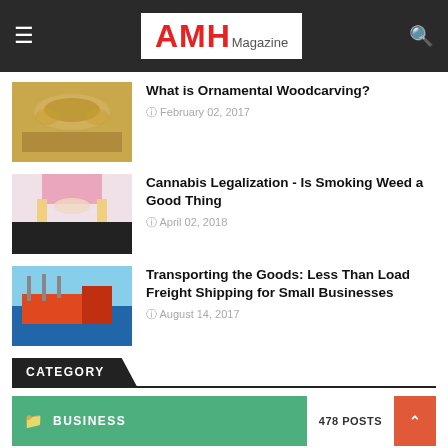AMH Magazine
What is Ornamental Woodcarving?
February 02, 2017
[Figure (photo): Ornamental woodcarving decorative piece with golden baroque style relief]
Cannabis Legalization - Is Smoking Weed a Good Thing
April 02, 2018
[Figure (photo): Woman in pink sports bra measuring waist with yellow tape measure]
Transporting the Goods: Less Than Load Freight Shipping for Small Businesses
August 14, 2017
[Figure (photo): Cargo ship with cranes at port on blue water]
CATEGORY
BUSINESS 478 POSTS
FASHION 55 POSTS